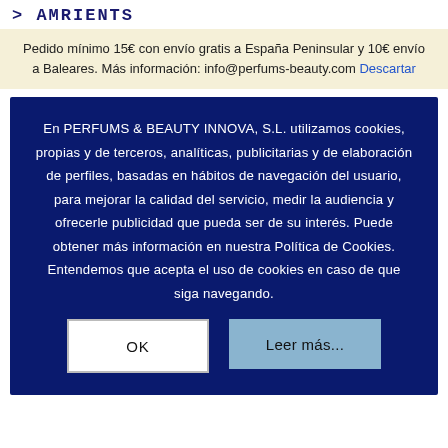> AMRIENTS
Pedido mínimo 15€ con envío gratis a España Peninsular y 10€ envío a Baleares. Más información: info@perfums-beauty.com Descartar
En PERFUMS & BEAUTY INNOVA, S.L. utilizamos cookies, propias y de terceros, analíticas, publicitarias y de elaboración de perfiles, basadas en hábitos de navegación del usuario, para mejorar la calidad del servicio, medir la audiencia y ofrecerle publicidad que pueda ser de su interés. Puede obtener más información en nuestra Política de Cookies. Entendemos que acepta el uso de cookies en caso de que siga navegando.
OK
Leer más...